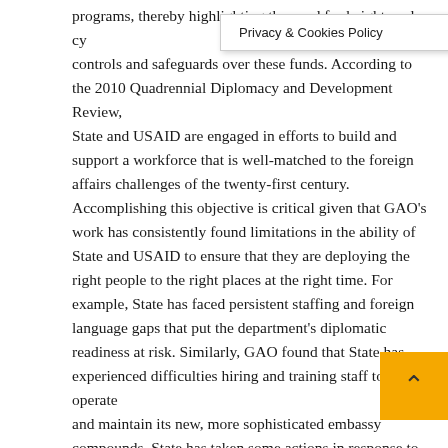programs, thereby highlighting the need for heightened cy controls and safeguards over these funds. According to the 2010 Quadrennial Diplomacy and Development Review, State and USAID are engaged in efforts to build and support a workforce that is well-matched to the foreign affairs challenges of the twenty-first century. Accomplishing this objective is critical given that GAO's work has consistently found limitations in the ability of State and USAID to ensure that they are deploying the right people to the right places at the right time. For example, State has faced persistent staffing and foreign language gaps that put the department's diplomatic readiness at risk. Similarly, GAO found that State has experienced difficulties hiring and training staff to operate and maintain its new, more sophisticated embassy compounds. State has taken some actions in response to GAO's findings. For example, in 2010, the department introduced a new pilot program to expand its cadre of Chinese speakers. State also noted in 2010 that it planned to hire additional facilities managers at embassies and